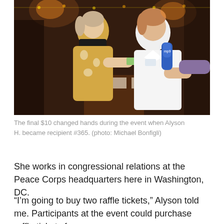[Figure (photo): Two people at an indoor event. A woman in a yellow patterned sweater and black scarf is handing something to a man in a white shirt who is holding a microphone. The setting appears to be a dimly lit bar or restaurant with brick walls and warm lighting.]
The final $10 changed hands during the event when Alyson H. became recipient #365. (photo: Michael Bonfigli)
She works in congressional relations at the Peace Corps headquarters here in Washington, DC.
“I’m going to buy two raffle tickets,” Alyson told me. Participants at the event could purchase raffle tickets for